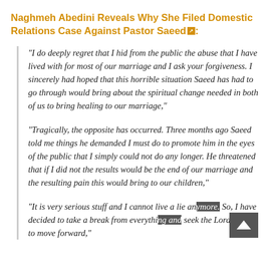Naghmeh Abedini Reveals Why She Filed Domestic Relations Case Against Pastor Saeed:
"I do deeply regret that I hid from the public the abuse that I have lived with for most of our marriage and I ask your forgiveness. I sincerely had hoped that this horrible situation Saeed has had to go through would bring about the spiritual change needed in both of us to bring healing to our marriage,"
"Tragically, the opposite has occurred. Three months ago Saeed told me things he demanded I must do to promote him in the eyes of the public that I simply could not do any longer. He threatened that if I did not the results would be the end of our marriage and the resulting pain this would bring to our children,"
"It is very serious stuff and I cannot live a lie anymore. So, I have decided to take a break from everything and seek the Lord on how to move forward,"